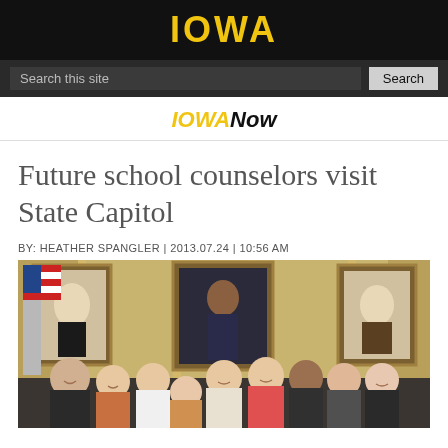IOWA
Search this site | Search
IOWANow
Future school counselors visit State Capitol
BY: HEATHER SPANGLER | 2013.07.24 | 10:56 AM
[Figure (photo): Group photo of future school counselors posing with a government official inside the State Capitol building. Three presidential/historical portraits hang on the wall behind them: Lincoln on the left, Obama in the center, and Washington on the right. An American flag is visible on the left side.]